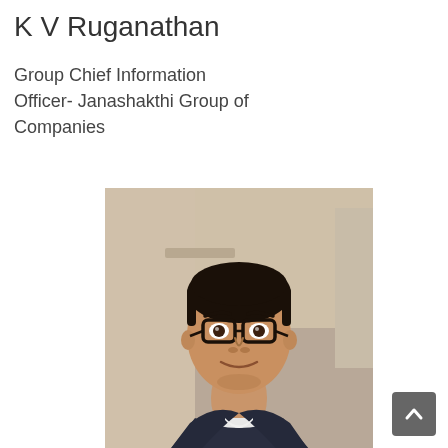K V Ruganathan
Group Chief Information Officer- Janashakthi Group of Companies
[Figure (photo): Professional headshot of K V Ruganathan, a man wearing dark-framed glasses and a dark blazer with white shirt, photographed indoors with a blurred background.]
[Figure (other): Back-to-top navigation button, a small dark gray square with an upward-pointing chevron arrow.]